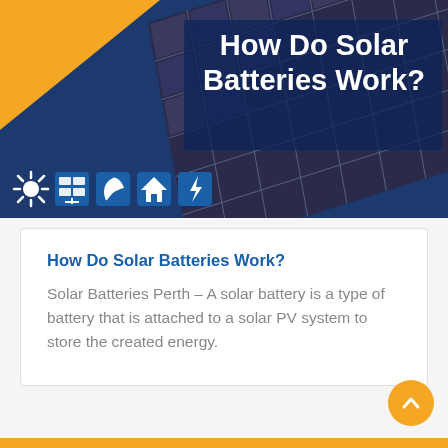[Figure (photo): Hero image with solar panels background, dark blue overlay with gold/orange triangle in top-left, and icons row at bottom-left]
How Do Solar Batteries Work?
How Do Solar Batteries Work?
Solar Batteries Perth – A solar battery is a type of battery that is attached to a solar PV system to store the created energy.